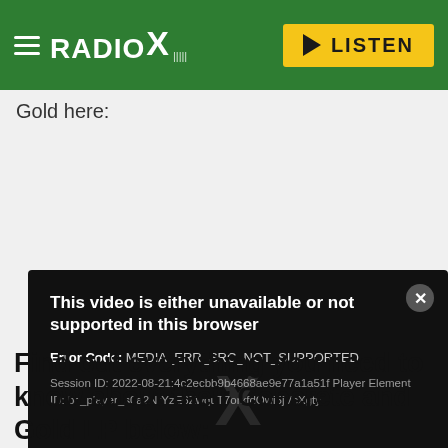RADIO X — LISTEN
Gold here:
[Figure (screenshot): Video player error dialog on dark background. Title: 'This video is either unavailable or not supported in this browser'. Error Code: MEDIA_ERR_SRC_NOT_SUPPORTED. Session ID: 2022-08-21:4c2ecbb9b4668ae9e77a1a51f Player Element ID: bc_player_s0a2NrYzE6ZwquT7orxfdOwi5jVcXgty. OK button at bottom. Close (X) button at top right.]
Find out everything you need to know about their Concrete and Gold LP below: